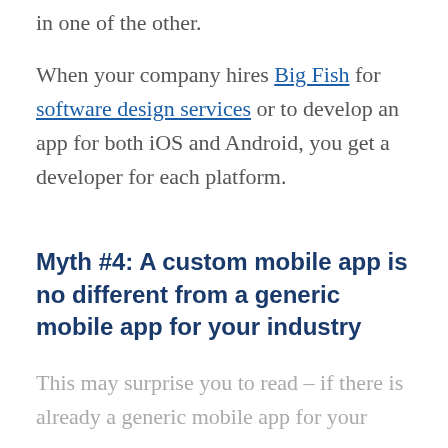in one of the other.
When your company hires Big Fish for software design services or to develop an app for both iOS and Android, you get a developer for each platform.
Myth #4: A custom mobile app is no different from a generic mobile app for your industry
This may surprise you to read – if there is already a generic mobile app for your